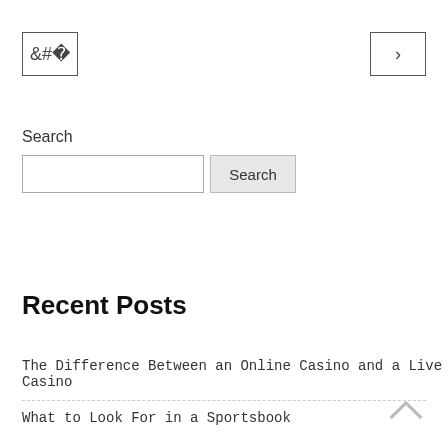[Figure (other): Navigation previous button with left chevron (<)]
[Figure (other): Navigation next button with right chevron (>)]
Search
[Figure (other): Search input field and Search button]
Recent Posts
The Difference Between an Online Casino and a Live Casino
What to Look For in a Sportsbook